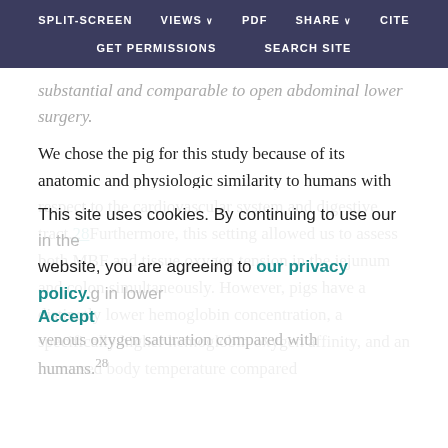SPLIT-SCREEN   VIEWS   PDF   SHARE   CITE   GET PERMISSIONS   SEARCH SITE
substantial and comparable to open abdominal lower surgery.
We chose the pig for this study because of its anatomic and physiologic similarity to humans with respect to the cardiovascular system and digestive tract.28Furthermore, this setting allowed us to assess both MBF and tissue oxygen tension in the jejunum and colon simultaneously. However, pigs have a distinctly lower hemoglobin concentration, a specifically higher hemoglobin oxygen affinity, and an increased body temperature compared
This site uses cookies. By continuing to use our website, you are agreeing to our privacy policy. Accept
venous oxygen saturation compared with humans.28